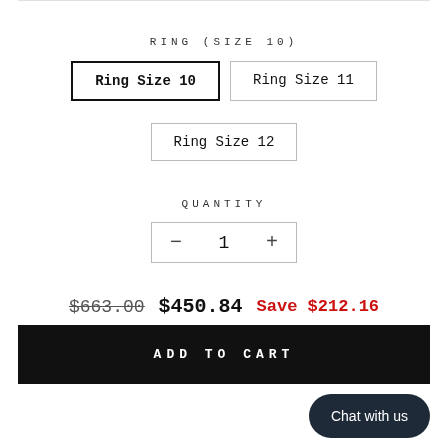RING (SIZE 10)
Ring Size 10
Ring Size 11
Ring Size 12
QUANTITY
− 1 +
$663.00  $450.84  Save $212.16
ADD TO CART
Chat with us